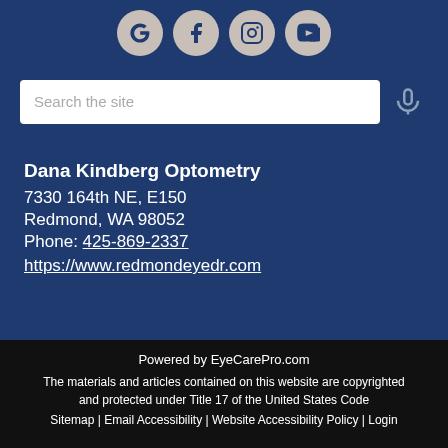[Figure (other): Social media icons: Google, Facebook, Instagram, YouTube in circular beige buttons on dark blue background]
[Figure (other): Search bar with placeholder text 'Search the site' and microphone icon]
Dana Kindberg Optometry
7330 164th NE, E150
Redmond, WA 98052
Phone: 425-869-2337
https://www.redmondeyedr.com
Powered by EyeCarePro.com
The materials and articles contained on this website are copyrighted and protected under Title 17 of the United States Code
Sitemap | Email Accessibility | Website Accessibility Policy | Login